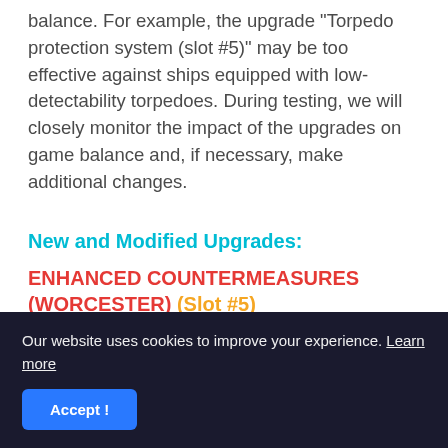balance. For example, the upgrade "Torpedo protection system (slot #5)" may be too effective against ships equipped with low-detectability torpedoes. During testing, we will closely monitor the impact of the upgrades on game balance and, if necessary, make additional changes.
New and Modified Upgrades:
ENHANCED COUNTERMEASURES (WORCESTER) (Slot #5)
[Figure (screenshot): Game UI card showing Worcester only, fifth slot - Enhanced Measures upgrade. Text: 'The bonus applied to the action time of the Surveillance Radar']
Our website uses cookies to improve your experience. Learn more
Accept !
Extends the action time of the